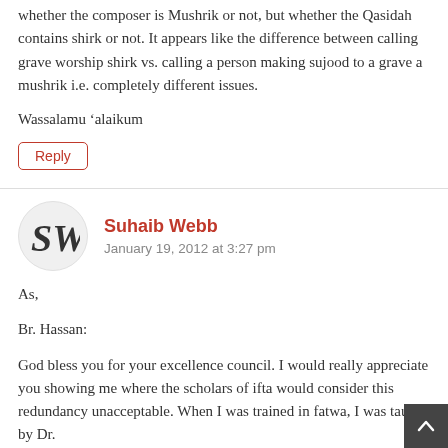whether the composer is Mushrik or not, but whether the Qasidah contains shirk or not. It appears like the difference between calling grave worship shirk vs. calling a person making sujood to a grave a mushrik i.e. completely different issues.
Wassalamu ‘alaikum
Reply
Suhaib Webb
January 19, 2012 at 3:27 pm
As,
Br. Hassan:
God bless you for your excellence council. I would really appreciate you showing me where the scholars of ifta would consider this redundancy unacceptable. When I was trained in fatwa, I was taught by Dr.